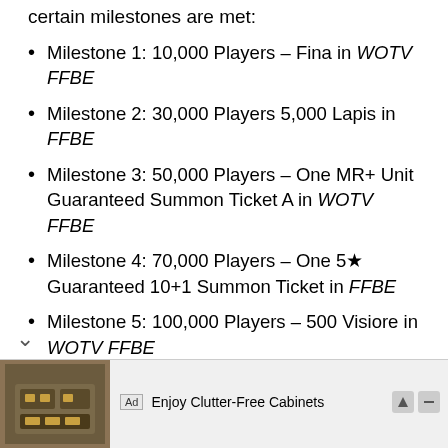certain milestones are met:
Milestone 1: 10,000 Players – Fina in WOTV FFBE
Milestone 2: 30,000 Players 5,000 Lapis in FFBE
Milestone 3: 50,000 Players – One MR+ Unit Guaranteed Summon Ticket A in WOTV FFBE
Milestone 4: 70,000 Players – One 5★ Guaranteed 10+1 Summon Ticket in FFBE
Milestone 5: 100,000 Players – 500 Visiore in WOTV FFBE
Both Final Fantasy Brave Exvius and its tactical RPG spin-off, War of the Visions, are available now
the App Store and on the Google Play Store
[Figure (screenshot): Advertisement banner: Ad label, 'Enjoy Clutter-Free Cabinets' text, thumbnail image of kitchen cabinet organizer]